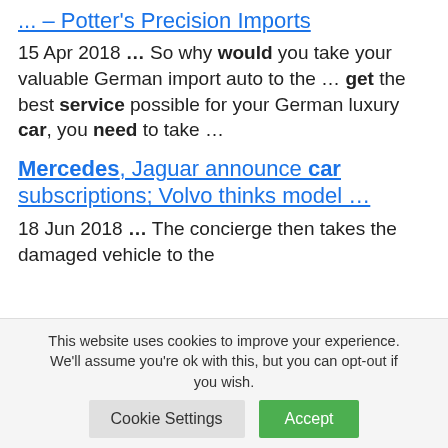... – Potter's Precision Imports
15 Apr 2018 ... So why would you take your valuable German import auto to the ... get the best service possible for your German luxury car, you need to take ...
Mercedes, Jaguar announce car subscriptions; Volvo thinks model ...
18 Jun 2018 ... The concierge then takes the damaged vehicle to the
This website uses cookies to improve your experience. We'll assume you're ok with this, but you can opt-out if you wish. Cookie Settings Accept